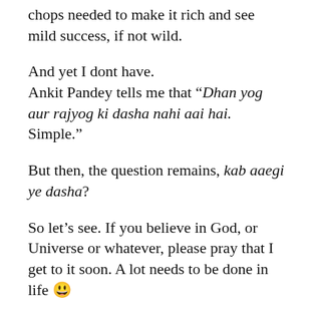chops needed to make it rich and see mild success, if not wild.
And yet I dont have. Ankit Pandey tells me that “Dhan yog aur rajyog ki dasha nahi aai hai. Simple.”
But then, the question remains, kab aaegi ye dasha?
So let’s see. If you believe in God, or Universe or whatever, please pray that I get to it soon. A lot needs to be done in life 😀
The other thing that I need to capture for posterity is that I reached out to Team MML,